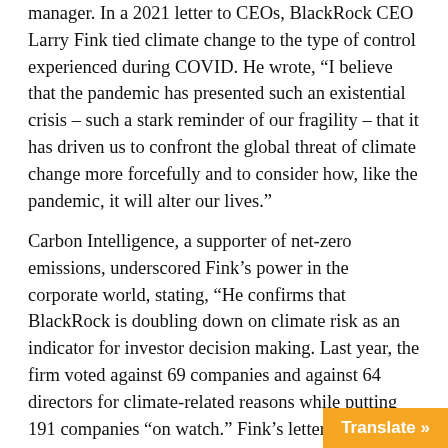manager. In a 2021 letter to CEOs, BlackRock CEO Larry Fink tied climate change to the type of control experienced during COVID. He wrote, “I believe that the pandemic has presented such an existential crisis – such a stark reminder of our fragility – that it has driven us to confront the global threat of climate change more forcefully and to consider how, like the pandemic, it will alter our lives.”
Carbon Intelligence, a supporter of net-zero emissions, underscored Fink’s power in the corporate world, stating, “He confirms that BlackRock is doubling down on climate risk as an indicator for investor decision making. Last year, the firm voted against 69 companies and against 64 directors for climate-related reasons while putting 191 companies “on watch.” Fink’s letter to CEOs confirmed the company’s intent to hold all corporations accountable, asking them to disclose a long-term sustainability plan for net-zero, and stated, “We strongly support moving to a single global standard,” emphasizing the need for public-private partnerships to achieve the standard. In addition, he asked for disclosures on diversity, equity and inclusion strategie